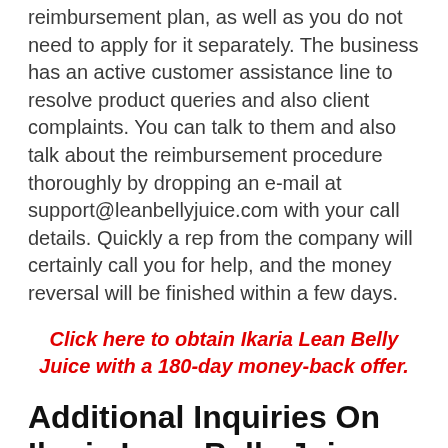reimbursement plan, as well as you do not need to apply for it separately. The business has an active customer assistance line to resolve product queries and also client complaints. You can talk to them and also talk about the reimbursement procedure thoroughly by dropping an e-mail at support@leanbellyjuice.com with your call details. Quickly a rep from the company will certainly call you for help, and the money reversal will be finished within a few days.
Click here to obtain Ikaria Lean Belly Juice with a 180-day money-back offer.
Additional Inquiries On Ikaria Lean Belly Juice